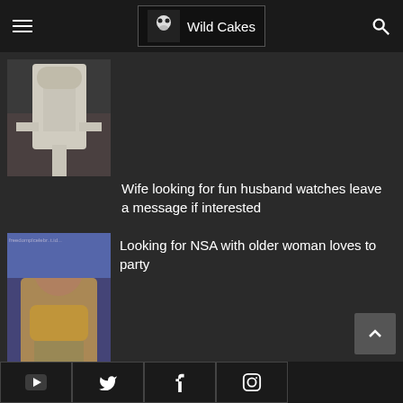Wild Cakes
[Figure (photo): Person in white robe or martial arts gi holding something, partial body visible]
Wife looking for fun husband watches leave a message if interested
[Figure (photo): Woman in gold bikini top posing outdoors]
Looking for NSA with older woman loves to party
Seeking adventure and other things I love sex
YouTube Twitter Facebook Instagram